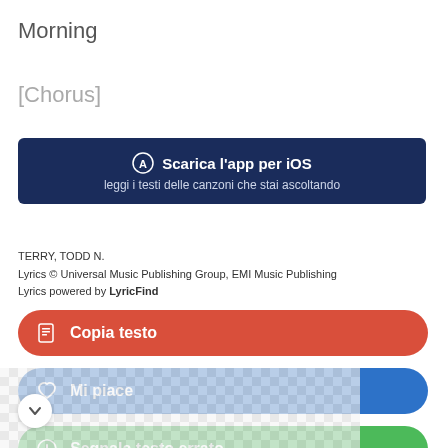Morning
[Chorus]
[Figure (infographic): Dark blue banner advertising iOS app download: 'Scarica l'app per iOS' with subtitle 'leggi i testi delle canzoni che stai ascoltando']
TERRY, TODD N.
Lyrics © Universal Music Publishing Group, EMI Music Publishing
Lyrics powered by LyricFind
Copia testo
Mi piace
Segnala testo errato